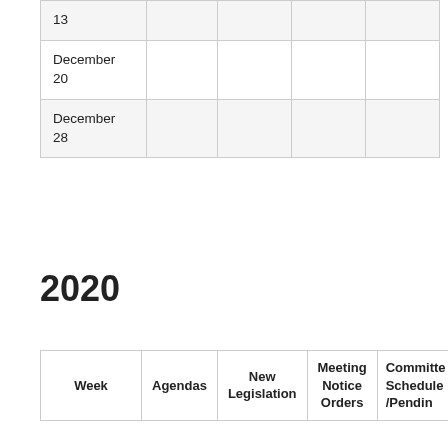| Week | Agendas | New Legislation | Meeting Notice Orders | Committee Schedule/Pending |
| --- | --- | --- | --- | --- |
| 13 |  |  |  |  |
| December 20 |  |  |  |  |
| December 28 |  |  |  |  |
2020
| Week | Agendas | New Legislation | Meeting Notice Orders | Committee Schedule/Pending |
| --- | --- | --- | --- | --- |